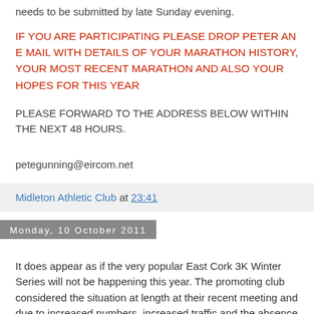needs to be submitted by late Sunday evening.
IF YOU ARE PARTICIPATING PLEASE DROP PETER AN E MAIL WITH DETAILS OF YOUR MARATHON HISTORY, YOUR MOST RECENT MARATHON AND ALSO YOUR HOPES FOR THIS YEAR
PLEASE FORWARD TO THE ADDRESS BELOW WITHIN THE NEXT 48 HOURS.
petegunning@eircom.net
Midleton Athletic Club at 23:41
Monday, 10 October 2011
It does appear as if the very popular East Cork 3K Winter Series will not be happening this year. The promoting club considered the situation at length at their recent meeting and due to increased numbers, increased traffic and the absence